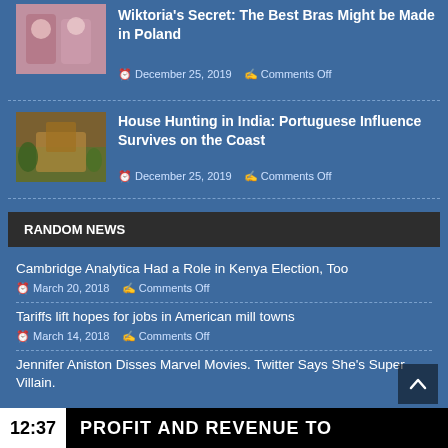[Figure (photo): Thumbnail photo of women at a lingerie event]
Wiktoria's Secret: The Best Bras Might be Made in Poland
December 25, 2019   Comments Off
[Figure (photo): Thumbnail photo of a house with warm lighting and tropical plants]
House Hunting in India: Portuguese Influence Survives on the Coast
December 25, 2019   Comments Off
RANDOM NEWS
Cambridge Analytica Had a Role in Kenya Election, Too
March 20, 2018   Comments Off
Tariffs lift hopes for jobs in American mill towns
March 14, 2018   Comments Off
Jennifer Aniston Disses Marvel Movies. Twitter Says She's Super Villain.
12:37   PROFIT AND REVENUE TO